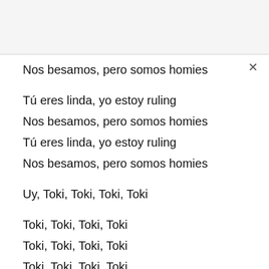Nos besamos, pero somos homies
Tú eres linda, yo estoy ruling
Nos besamos, pero somos homies
Tú eres linda, yo estoy ruling
Nos besamos, pero somos homies
Uy, Toki, Toki, Toki, Toki
Toki, Toki, Toki, Toki
Toki, Toki, Toki, Toki
Toki, Toki, Toki, Toki